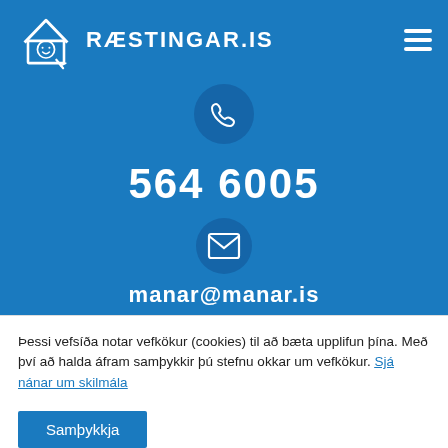[Figure (logo): Ræstingar.is logo with house icon and smiley face, and hamburger menu icon]
564 6005
[Figure (illustration): Circular mail/envelope icon on blue background]
manar@manar.is
Þessi vefsíða notar vefkökur (cookies) til að bæta upplifun þína. Með því að halda áfram samþykkir þú stefnu okkar um vefkökur. Sjá nánar um skilmála
Samþykkja